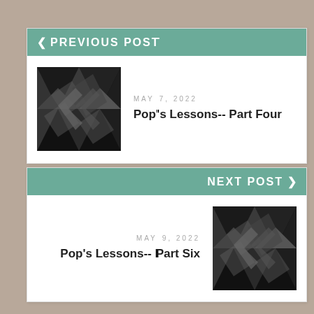< PREVIOUS POST
[Figure (illustration): Dark geometric polygon pattern thumbnail image]
MAY 7, 2022
Pop's Lessons-- Part Four
NEXT POST >
MAY 9, 2022
Pop's Lessons-- Part Six
[Figure (illustration): Dark geometric polygon pattern thumbnail image]